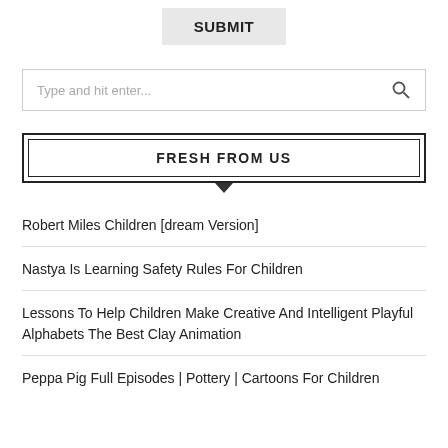SUBMIT
Type and hit enter...
FRESH FROM US
Robert Miles Children [dream Version]
Nastya Is Learning Safety Rules For Children
Lessons To Help Children Make Creative And Intelligent Playful Alphabets The Best Clay Animation
Peppa Pig Full Episodes | Pottery | Cartoons For Children